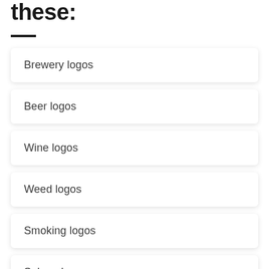these:
Brewery logos
Beer logos
Wine logos
Weed logos
Smoking logos
Saloon logos